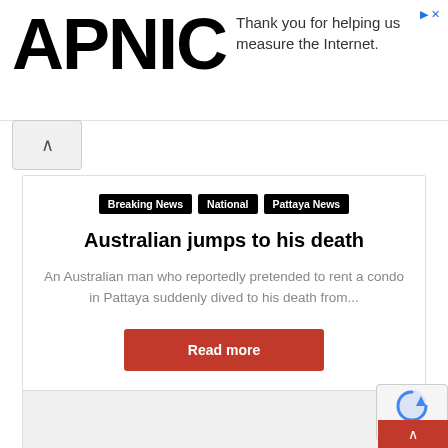[Figure (logo): APNIC logo — large bold black text 'APNIC' with an ad overlay text 'Thank you for helping us measure the Internet.']
Thank you for helping us measure the Internet.
Breaking News
National
Pattaya News
Australian jumps to his death
An Australian man who reportedly pretended to rent a condo in Pattaya suddenly dived to his death from...
Read more